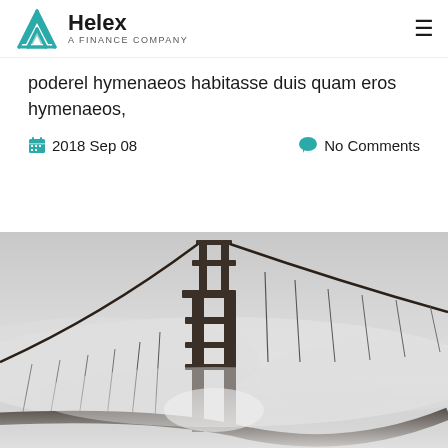Helex — A Finance Company
poderel hymenaeos habitasse duis quam eros hymenaeos,
2018 Sep 08   No Comments
[Figure (photo): Black and white photograph of the Golden Gate Bridge partially obscured by fog, with the main tower visible and the suspension cables and roadway curving to the right.]